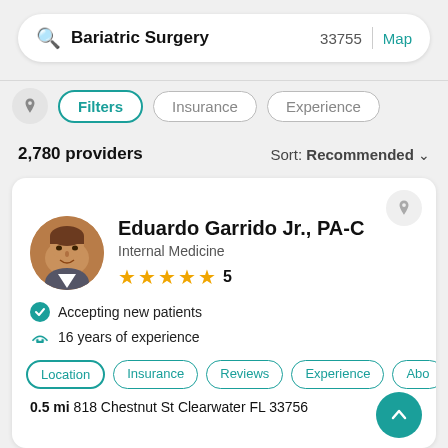Bariatric Surgery  33755  Map
Filters  Insurance  Experience
2,780 providers  Sort: Recommended
Eduardo Garrido Jr., PA-C
Internal Medicine
★★★★★ 5
Accepting new patients
16 years of experience
Location  Insurance  Reviews  Experience  Abo
0.5 mi 818 Chestnut St Clearwater FL 33756